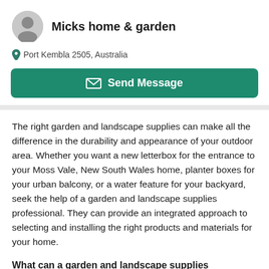Micks home & garden
Port Kembla 2505, Australia
[Figure (other): Send Message button with envelope icon, teal/green background]
The right garden and landscape supplies can make all the difference in the durability and appearance of your outdoor area. Whether you want a new letterbox for the entrance to your Moss Vale, New South Wales home, planter boxes for your urban balcony, or a water feature for your backyard, seek the help of a garden and landscape supplies professional. They can provide an integrated approach to selecting and installing the right products and materials for your home.
What can a garden and landscape supplies professional do?